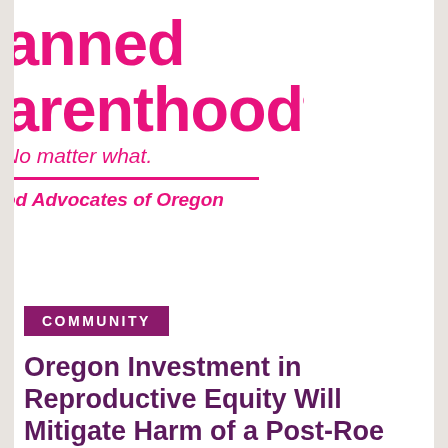[Figure (logo): Planned Parenthood logo (cropped left side): large pink bold text 'anned' and 'arenthood®', tagline 'No matter what.' in pink italic, pink horizontal divider line, 'od Advocates of Oregon' in pink italic bold below]
[Figure (logo): Partially visible logo on right side with gold chevron/triangle shapes and black bold text 'FO', 'TOGE' and gold text 'AC' — likely 'Forward Together Action' or similar organization logo]
COMMUNITY
Oregon Investment in Reproductive Equity Will Mitigate Harm of a Post-Roe